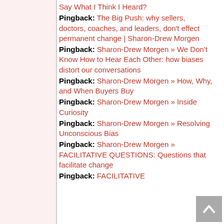Say What I Think I Heard?
Pingback: The Big Push: why sellers, doctors, coaches, and leaders, don’t effect permanent change | Sharon-Drew Morgen
Pingback: Sharon-Drew Morgen » We Don’t Know How to Hear Each Other: how biases distort our conversations
Pingback: Sharon-Drew Morgen » How, Why, and When Buyers Buy
Pingback: Sharon-Drew Morgen » Inside Curiosity
Pingback: Sharon-Drew Morgen » Resolving Unconscious Bias
Pingback: Sharon-Drew Morgen » FACILITATIVE QUESTIONS: Questions that facilitate change
Pingback: FACILITATIVE